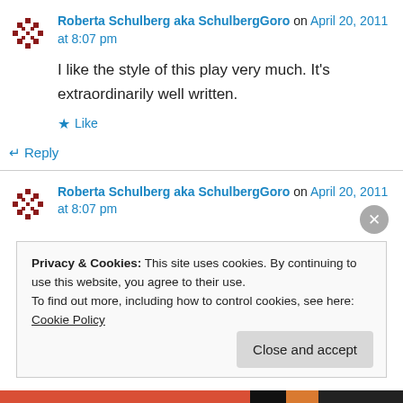Roberta Schulberg aka SchulbergGoro on April 20, 2011 at 8:07 pm
I like the style of this play very much. It's extraordinarily well written.
Like
↵ Reply
Roberta Schulberg aka SchulbergGoro on April 20, 2011 at 8:07 pm
Privacy & Cookies: This site uses cookies. By continuing to use this website, you agree to their use.
To find out more, including how to control cookies, see here: Cookie Policy
Close and accept